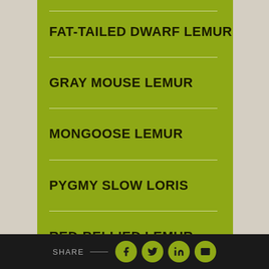FAT-TAILED DWARF LEMUR
GRAY MOUSE LEMUR
MONGOOSE LEMUR
PYGMY SLOW LORIS
RED-BELLIED LEMUR
RED-FRONTED LEMUR
SHARE — [facebook] [twitter] [linkedin] [email]